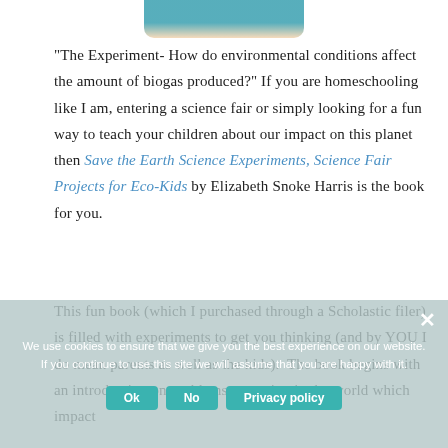[Figure (photo): Top portion of a book cover image showing a child or figure in teal/blue clothing, partially cropped at top of page.]
“The Experiment- How do environmental conditions affect the amount of biogas produced?” If you are homeschooling like I am, entering a science fair or simply looking for a fun way to teach your children about our impact on this planet then Save the Earth Science Experiments, Science Fair Projects for Eco-Kids by Elizabeth Snoke Harris is the book for you.
This fun book (which I purchased through a Scholastic filer) is filled with experiments to get you thinking (and by YOU I do mean parents as well as the kids). The book begins with an introduction on problems occurring in the world which impact